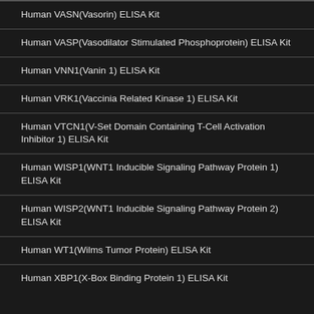Human VASN(Vasorin) ELISA Kit
Human VASP(Vasodilator Stimulated Phosphoprotein) ELISA Kit
Human VNN1(Vanin 1) ELISA Kit
Human VRK1(Vaccinia Related Kinase 1) ELISA Kit
Human VTCN1(V-Set Domain Containing T-Cell Activation Inhibitor 1) ELISA Kit
Human WISP1(WNT1 Inducible Signaling Pathway Protein 1) ELISA Kit
Human WISP2(WNT1 Inducible Signaling Pathway Protein 2) ELISA Kit
Human WT1(Wilms Tumor Protein) ELISA Kit
Human XBP1(X-Box Binding Protein 1) ELISA Kit